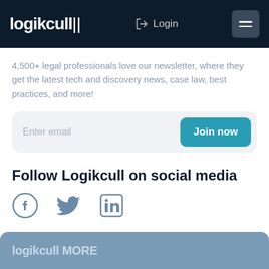logikcull | Login
4,500+ legal professionals love our newsletter, where they get the latest tech and discovery news, case law, best practices, and more!
[Figure (screenshot): Email subscription form with 'Enter email' placeholder and 'Join now' teal button]
Follow Logikcull on social media
[Figure (infographic): Social media icons: Facebook, Twitter, LinkedIn]
logikcull MORE